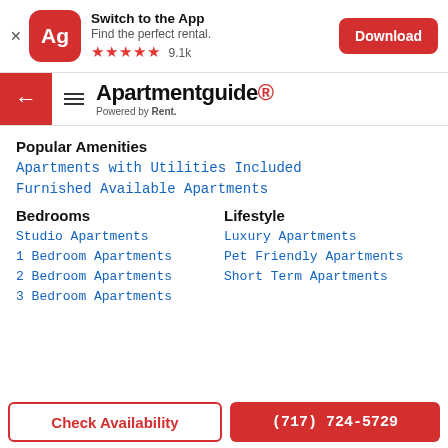[Figure (screenshot): App download banner with Ag icon, Switch to the App title, Find the perfect rental subtitle, 5 red stars rating with 9.1k reviews, and red Download button]
[Figure (screenshot): Navigation bar with red back arrow button, hamburger menu icon, and Apartmentguide logo Powered by Rent.]
Popular Amenities
Apartments with Utilities Included
Furnished Available Apartments
Bedrooms
Studio Apartments
1 Bedroom Apartments
2 Bedroom Apartments
3 Bedroom Apartments
Lifestyle
Luxury Apartments
Pet Friendly Apartments
Short Term Apartments
Check Availability
(717) 724-5729